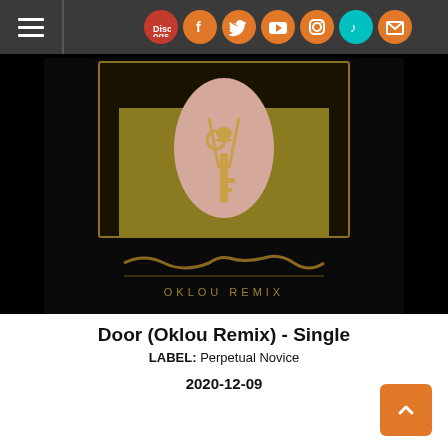Navigation bar with hamburger menu and social icons: Discogs, Facebook, Twitter, YouTube, Instagram, TikTok, Mail
[Figure (photo): Album cover for 'Door (Oklou Remix) - Single' showing a gold key on a necklace against a dark background with golden logo text 'OKLOU REMIX']
Door (Oklou Remix) - Single
LABEL: Perpetual Novice
2020-12-09